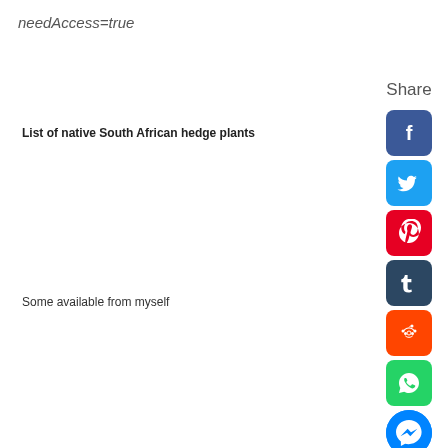needAccess=true
List of native South African hedge plants
Some available from myself
others from Toos van den Berg, Lucullus Road, Kraaifontein (just off the N1) or Kirstenbosch.
Flowers attracting
bees & butterflies fruit thorns
[Figure (infographic): Share sidebar with social media icons: Facebook, Twitter, Pinterest, Tumblr, Reddit, WhatsApp, Messenger, and a right-arrow button]